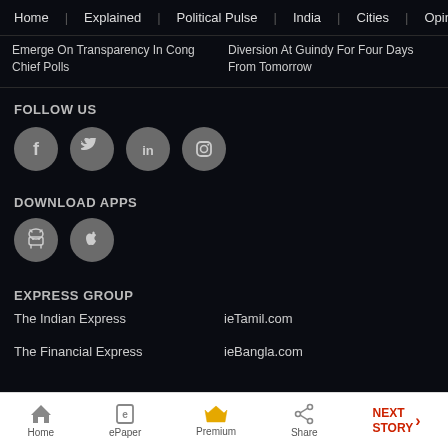Home | Explained | Political Pulse | India | Cities | Opinion | Entertainment
Emerge On Transparency In Cong Chief Polls
Diversion At Guindy For Four Days From Tomorrow
FOLLOW US
[Figure (infographic): Social media icons: Facebook, Twitter, LinkedIn, Instagram — circular grey buttons]
DOWNLOAD APPS
[Figure (infographic): App download icons: Android and Apple — circular grey buttons]
EXPRESS GROUP
The Indian Express
ieTamil.com
The Financial Express
ieBangla.com
Home | ePaper | Premium | Share | NEXT STORY